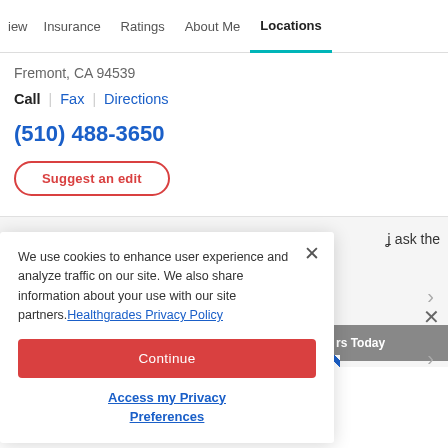iew  Insurance  Ratings  About Me  Locations
Fremont, CA 94539
Call | Fax | Directions
(510) 488-3650
Suggest an edit
We use cookies to enhance user experience and analyze traffic on our site. We also share information about your use with our site partners. Healthgrades Privacy Policy
Continue
Access my Privacy Preferences